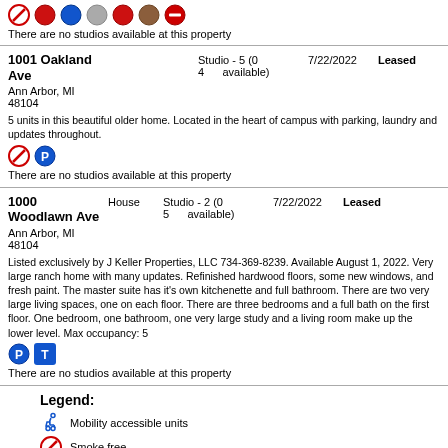[Figure (infographic): Row of icons: no-smoking, red circle, blue circle, grey circle, red circle, brown icon, no-entry circle]
There are no studios available at this property
1001 Oakland Ave
Ann Arbor, MI
48104
Studio - 5 (0 available)
4
7/22/2022
Leased
5 units in this beautiful older home. Located in the heart of campus with parking, laundry and updates throughout.
[Figure (infographic): No-smoking icon and parking icon]
There are no studios available at this property
1000 Woodlawn Ave
Ann Arbor, MI
48104
House
Studio - 2 (0 available)
5
7/22/2022
Leased
Listed exclusively by J Keller Properties, LLC 734-369-8239. Available August 1, 2022. Very large ranch home with many updates. Refinished hardwood floors, some new windows, and fresh paint. The master suite has it's own kitchenette and full bathroom. There are two very large living spaces, one on each floor. There are three bedrooms and a full bath on the first floor. One bedroom, one bathroom, one very large study and a living room make up the lower level. Max occupancy: 5
[Figure (infographic): Parking icon and blue T icon]
There are no studios available at this property
Legend:
Mobility accessible units
Smoke free